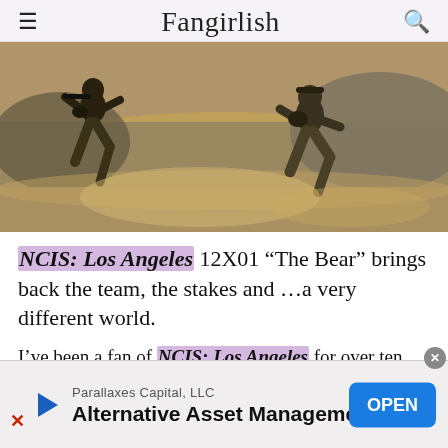Fangirlish
[Figure (photo): Two figures running through dusty terrain, one on left carrying a rifle, one on right, action scene from NCIS: Los Angeles]
NCIS: Los Angeles 12X01 “The Bear” brings back the team, the stakes and …a very different world.
I’ve been a fan of NCIS: Los Angeles for over ten years. I covered the show on another website for a while, and then sort of …let it fall from my list of priorities. I
[Figure (screenshot): Advertisement banner: Parallaxes Capital, LLC - Alternative Asset Management with OPEN button]